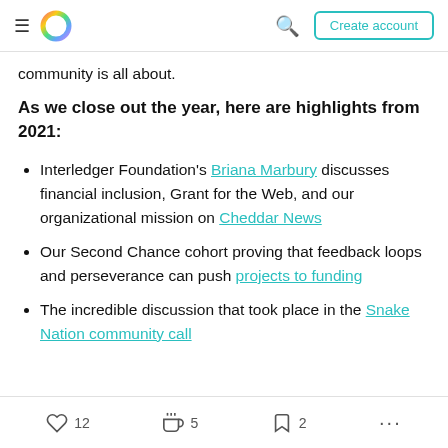Create account
community is all about.
As we close out the year, here are highlights from 2021:
Interledger Foundation's Briana Marbury discusses financial inclusion, Grant for the Web, and our organizational mission on Cheddar News
Our Second Chance cohort proving that feedback loops and perseverance can push projects to funding
The incredible discussion that took place in the Snake Nation community call
12  5  2  ...